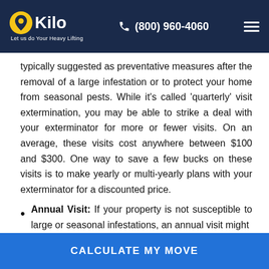Kilo — Let us do Your Heavy Lifting | (800) 960-4060
typically suggested as preventative measures after the removal of a large infestation or to protect your home from seasonal pests. While it's called 'quarterly' visit extermination, you may be able to strike a deal with your exterminator for more or fewer visits. On an average, these visits cost anywhere between $100 and $300. One way to save a few bucks on these visits is to make yearly or multi-yearly plans with your exterminator for a discounted price.
Annual Visit: If your property is not susceptible to large or seasonal infestations, an annual visit might
CALCULATE MY MOVE